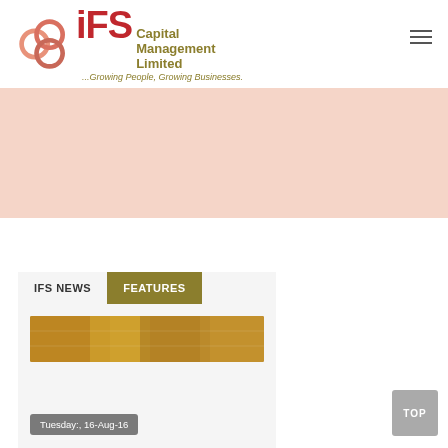[Figure (logo): IFS Capital Management Limited logo with interlocking circles and tagline '...Growing People, Growing Businesses.']
FIND OUT MORE
[Figure (photo): Image of currency/money notes]
IFS NEWS
FEATURES
Tuesday:, 16-Aug-16
IFS Capital